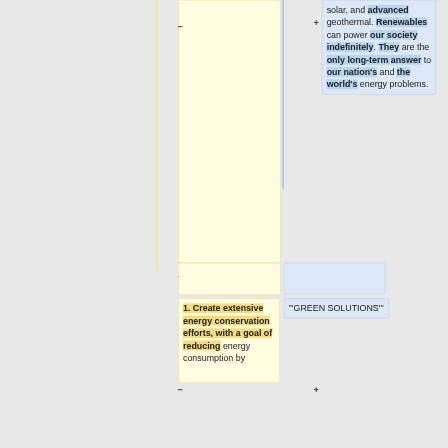solar, and advanced geothermal. Renewables can power our society indefinitely. They are the only long-term answer to our nation's and the world's energy problems.
1. Create extensive energy conservation efforts, with a goal of reducing energy consumption by...
"'GREEN SOLUTIONS'"